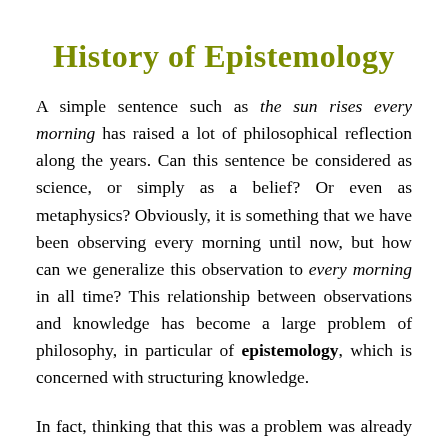History of Epistemology
A simple sentence such as the sun rises every morning has raised a lot of philosophical reflection along the years. Can this sentence be considered as science, or simply as a belief? Or even as metaphysics? Obviously, it is something that we have been observing every morning until now, but how can we generalize this observation to every morning in all time? This relationship between observations and knowledge has become a large problem of philosophy, in particular of epistemology, which is concerned with structuring knowledge.
In fact, thinking that this was a problem was already a major breakthrough in philosophy. Although a few ancient philosophers noticed it, including the Greek